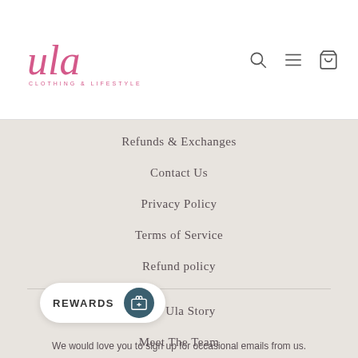[Figure (logo): Ula Clothing & Lifestyle logo in pink cursive script with subtitle]
Refunds & Exchanges
Contact Us
Privacy Policy
Terms of Service
Refund policy
The Ula Story
Meet The Team
About Ula Hayle, Cornwall
About Ula St Ives, Cornwall
We would love you to sign up for occasional emails from us.